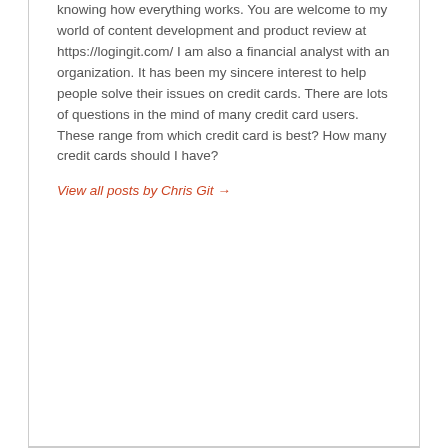knowing how everything works. You are welcome to my world of content development and product review at https://logingit.com/ I am also a financial analyst with an organization. It has been my sincere interest to help people solve their issues on credit cards. There are lots of questions in the mind of many credit card users. These range from which credit card is best? How many credit cards should I have?
View all posts by Chris Git →